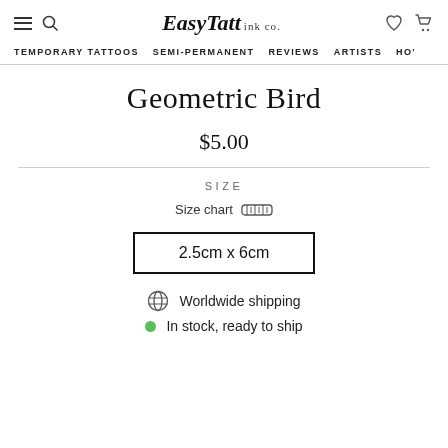EasyTatt ink co. — navigation header
TEMPORARY TATTOOS  SEMI-PERMANENT  REVIEWS  ARTISTS  HO'
Geometric Bird
$5.00
SIZE
Size chart
2.5cm x 6cm
Worldwide shipping
In stock, ready to ship